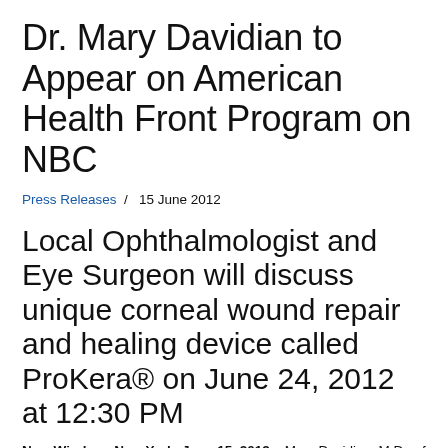Dr. Mary Davidian to Appear on American Health Front Program on NBC
Press Releases  /  15 June 2012
Local Ophthalmologist and Eye Surgeon will discuss unique corneal wound repair and healing device called ProKera® on June 24, 2012 at 12:30 PM
New Windsor, New York, June 15, 2012 – Mary Davidian, M.D., of Highland Ophthalmology Associates, a leading eye surgeon in The